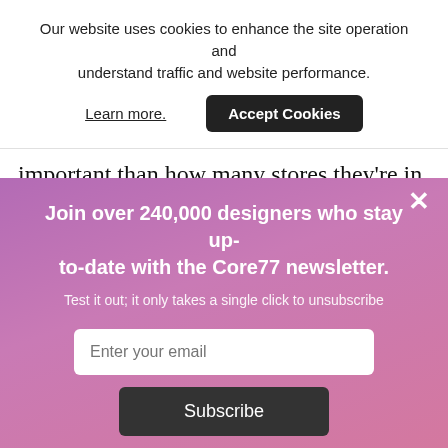Our website uses cookies to enhance the site operation and understand traffic and website performance.
Learn more.
Accept Cookies
important than how many stores they're in and the pricing…
×
Join over 240,000 designers who stay up-to-date with the Core77 newsletter.
Test it out; it only takes a single click to unsubscribe
Enter your email
Subscribe